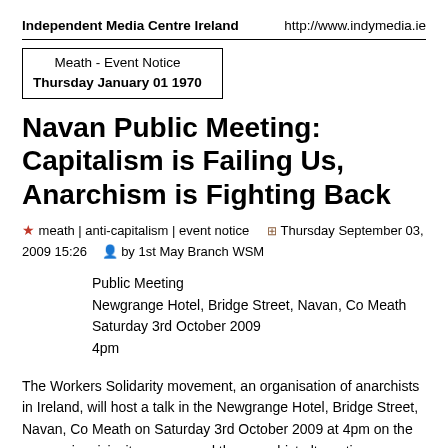Independent Media Centre Ireland    http://www.indymedia.ie
Meath - Event Notice
Thursday January 01 1970
Navan Public Meeting: Capitalism is Failing Us, Anarchism is Fighting Back
★ meath | anti-capitalism | event notice    ⊞ Thursday September 03, 2009 15:26    👤 by 1st May Branch WSM
Public Meeting
Newgrange Hotel, Bridge Street, Navan, Co Meath
Saturday 3rd October 2009
4pm
The Workers Solidarity movement, an organisation of anarchists in Ireland, will host a talk in the Newgrange Hotel, Bridge Street, Navan, Co Meath on Saturday 3rd October 2009 at 4pm on the economic crisis, its causes and the anarchist alternative.
We'll discuss why it is that from its very beginning capitalism has had these booms and busts that cause so much chaos and